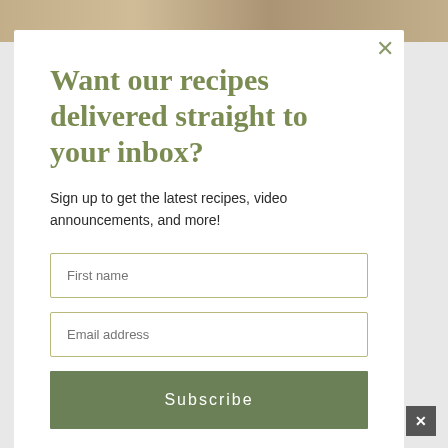[Figure (photo): Food photo at top of page showing baked goods, partially visible behind modal overlay]
Want our recipes delivered straight to your inbox?
Sign up to get the latest recipes, video announcements, and more!
First name
Email address
Subscribe